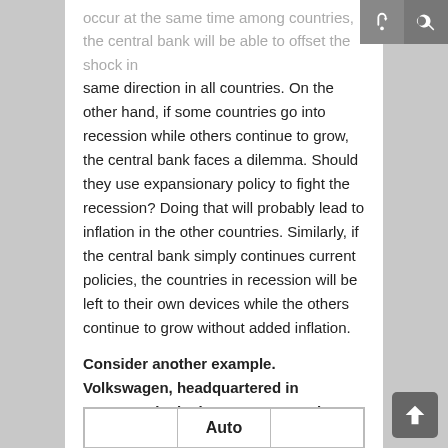occur at the same time among countries, the central bank will be able to offset the shock in the same direction in all countries. On the other hand, if some countries go into recession while others continue to grow, the central bank faces a dilemma. Should they use expansionary policy to fight the recession? Doing that will probably lead to inflation in the other countries. Similarly, if the central bank simply continues current policies, the countries in recession will be left to their own devices while the others continue to grow without added inflation.
Consider another example. Volkswagen, headquartered in Germany, is the largest auto producer in the world. While other countries host car companies (Fiat in Italy, Peugeot and Renault in France), Germany produces 30.8% of Europe's 16.77 million per year.
|  | Auto |  |
| --- | --- | --- |